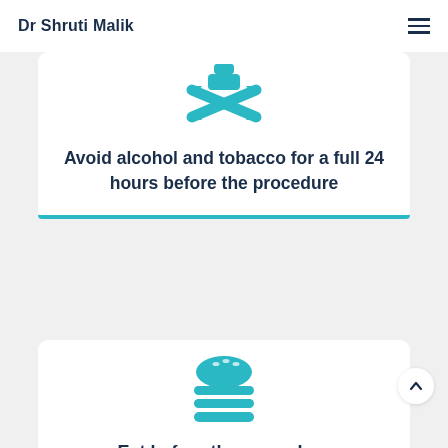Dr Shruti Malik
[Figure (illustration): Teal crossed-out icon representing alcohol and tobacco prohibition]
Avoid alcohol and tobacco for a full 24 hours before the procedure
[Figure (illustration): Teal burger/food icon representing eating before procedure]
Eat before the procedure